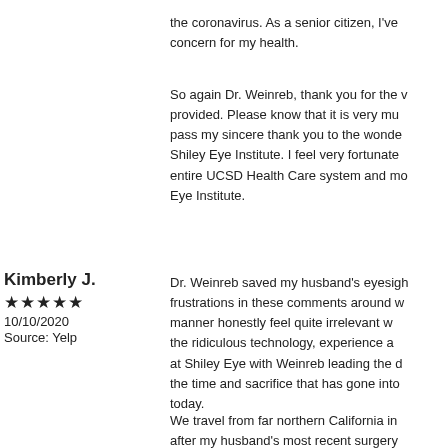the coronavirus. As a senior citizen, I've concern for my health.
So again Dr. Weinreb, thank you for the v provided. Please know that it is very mu pass my sincere thank you to the wonde Shiley Eye Institute. I feel very fortunate entire UCSD Health Care system and mo Eye Institute.
Kimberly J.
★★★★★
10/10/2020
Source: Yelp
Dr. Weinreb saved my husband's eyesigh frustrations in these comments around w manner honestly feel quite irrelevant w the ridiculous technology, experience a at Shiley Eye with Weinreb leading the d the time and sacrifice that has gone into today.
We travel from far northern California in after my husband's most recent surgery op pain. He worked us into the clinic and until we could get the cause of his pain r
So next time you are having to wait, ma